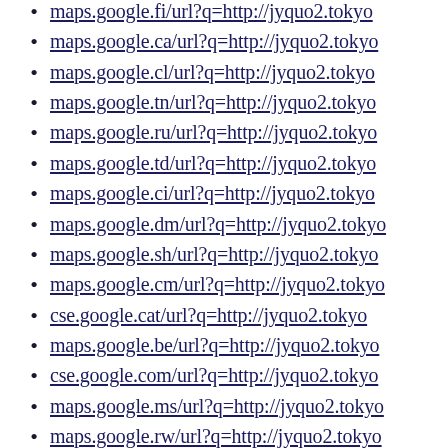maps.google.fi/url?q=http://jyquo2.tokyo
maps.google.ca/url?q=http://jyquo2.tokyo
maps.google.cl/url?q=http://jyquo2.tokyo
maps.google.tn/url?q=http://jyquo2.tokyo
maps.google.ru/url?q=http://jyquo2.tokyo
maps.google.td/url?q=http://jyquo2.tokyo
maps.google.ci/url?q=http://jyquo2.tokyo
maps.google.dm/url?q=http://jyquo2.tokyo
maps.google.sh/url?q=http://jyquo2.tokyo
maps.google.cm/url?q=http://jyquo2.tokyo
cse.google.cat/url?q=http://jyquo2.tokyo
maps.google.be/url?q=http://jyquo2.tokyo
cse.google.com/url?q=http://jyquo2.tokyo
maps.google.ms/url?q=http://jyquo2.tokyo
maps.google.rw/url?q=http://jyquo2.tokyo
maps.google.bf/url?q=http://jyquo2.tokyo
maps.google.bg/url?q=http://jyquo2.tokyo
maps.google.hr/url?q=http://jyquo2.tokyo